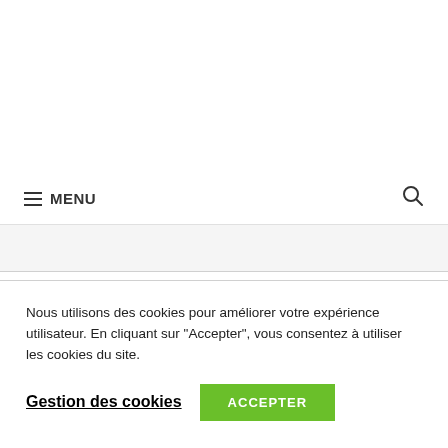MENU
Nous utilisons des cookies pour améliorer votre expérience utilisateur. En cliquant sur "Accepter", vous consentez à utiliser les cookies du site.
Gestion des cookies
ACCEPTER